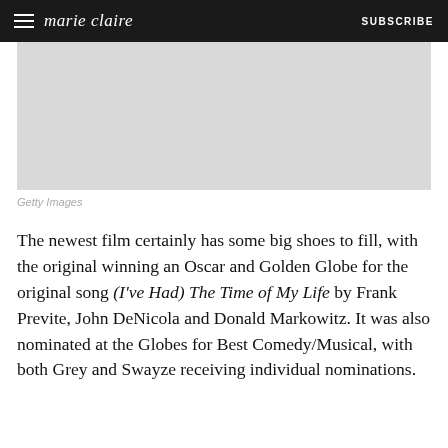marie claire | SUBSCRIBE
[Figure (photo): Placeholder grey image area]
Getty Images
The newest film certainly has some big shoes to fill, with the original winning an Oscar and Golden Globe for the original song (I've Had) The Time of My Life by Frank Previte, John DeNicola and Donald Markowitz. It was also nominated at the Globes for Best Comedy/Musical, with both Grey and Swayze receiving individual nominations.